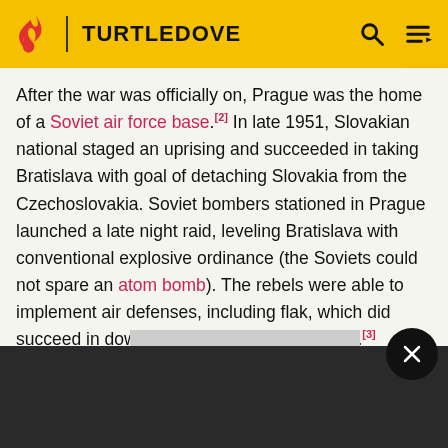TURTLEDOVE
After the war was officially on, Prague was the home of a Soviet air force base.[2] In late 1951, Slovakian national staged an uprising and succeeded in taking Bratislava with goal of detaching Slovakia from the Czechoslovakia. Soviet bombers stationed in Prague launched a late night raid, leveling Bratislava with conventional explosive ordinance (the Soviets could not spare an atom bomb). The rebels were able to implement air defenses, including flak, which did succeed in downing several Soviet bombers.[3]